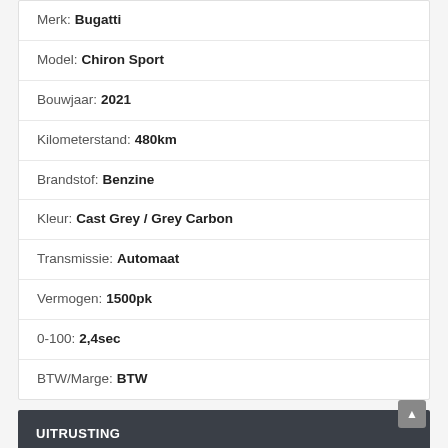Merk: Bugatti
Model: Chiron Sport
Bouwjaar: 2021
Kilometerstand: 480km
Brandstof: Benzine
Kleur: Cast Grey / Grey Carbon
Transmissie: Automaat
Vermogen: 1500pk
0-100: 2,4sec
BTW/Marge: BTW
UITRUSTING